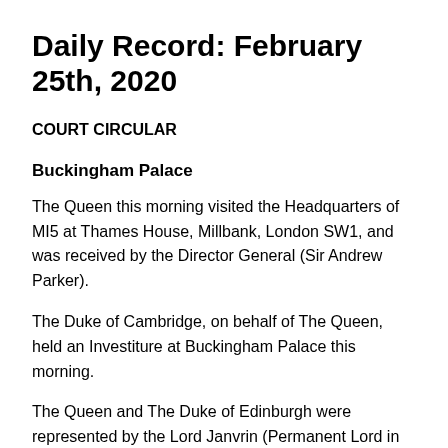Daily Record: February 25th, 2020
COURT CIRCULAR
Buckingham Palace
The Queen this morning visited the Headquarters of MI5 at Thames House, Millbank, London SW1, and was received by the Director General (Sir Andrew Parker).
The Duke of Cambridge, on behalf of The Queen, held an Investiture at Buckingham Palace this morning.
The Queen and The Duke of Edinburgh were represented by the Lord Janvrin (Permanent Lord in Waiting) at the Memorial Service for Professor Sir Michael Howard, OM,